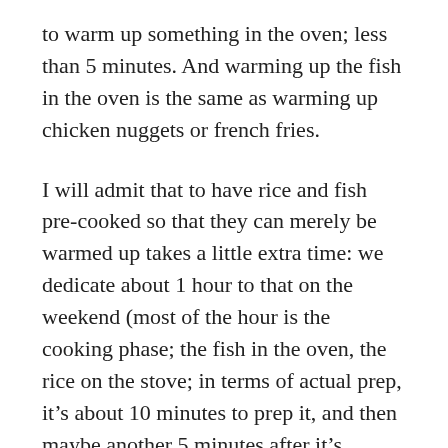to warm up something in the oven; less than 5 minutes. And warming up the fish in the oven is the same as warming up chicken nuggets or french fries.
I will admit that to have rice and fish pre-cooked so that they can merely be warmed up takes a little extra time: we dedicate about 1 hour to that on the weekend (most of the hour is the cooking phase; the fish in the oven, the rice on the stove; in terms of actual prep, it’s about 10 minutes to prep it, and then maybe another 5 minutes after it’s cooked to transfer it to storage containers for the week). I’m not dismissing the cost, however, of one hour; it may indeed be time I don’t have as the baby gets older. I’ve been around a few toddlers in the last few weeks, and have been shocked at the impossibility of getting anything done because of the need to follow